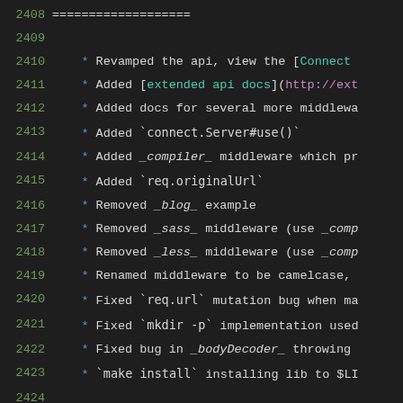2408    ==================
2409
2410      * Revamped the api, view the [Connect
2411      * Added [extended api docs](http://ext
2412      * Added docs for several more middlewa
2413      * Added `connect.Server#use()`
2414      * Added _compiler_ middleware which pr
2415      * Added `req.originalUrl`
2416      * Removed _blog_ example
2417      * Removed _sass_ middleware (use _comp
2418      * Removed _less_ middleware (use _comp
2419      * Renamed middleware to be camelcase,
2420      * Fixed `req.url` mutation bug when ma
2421      * Fixed `mkdir -p` implementation used
2422      * Fixed bug in _bodyDecoder_ throwing
2423      * `make install` installing lib to $LI
2424
2425    0.0.6 / 2010-06-22